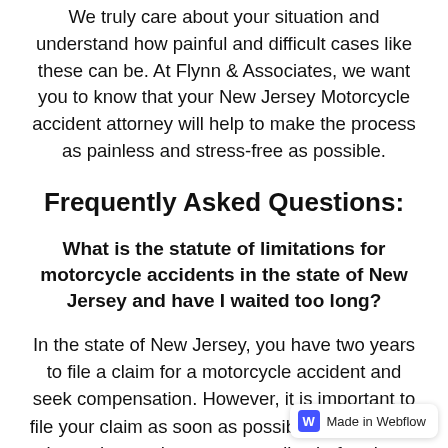We truly care about your situation and understand how painful and difficult cases like these can be. At Flynn & Associates, we want you to know that your New Jersey Motorcycle accident attorney will help to make the process as painless and stress-free as possible.
Frequently Asked Questions:
What is the statute of limitations for motorcycle accidents in the state of New Jersey and have I waited too long?
In the state of New Jersey, you have two years to file a claim for a motorcycle accident and seek compensation. However, it is important to file your claim as soon as possible so that there is no chance that your case dies before it is filed. Also, the earlier you file your claim the